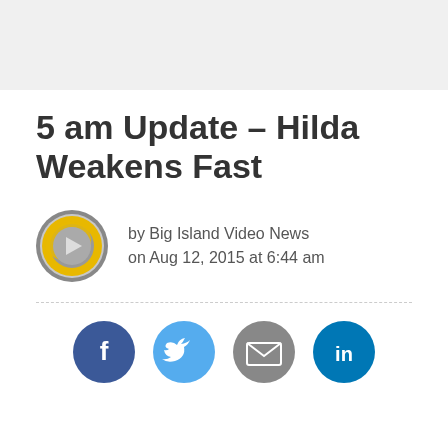[Figure (logo): Gray top banner bar background]
5 am Update – Hilda Weakens Fast
[Figure (logo): Big Island Video News circular logo with yellow play button arrow on gray circle background]
by Big Island Video News
on Aug 12, 2015 at 6:44 am
[Figure (infographic): Social share buttons row: Facebook (blue circle with f), Twitter (light blue circle with bird), Email (gray circle with envelope), LinkedIn (teal circle with in)]